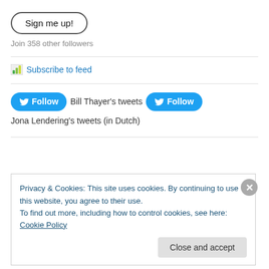Sign me up!
Join 358 other followers
Subscribe to feed
Follow  Bill Thayer's tweets   Follow   Jona Lendering's tweets (in Dutch)
Privacy & Cookies: This site uses cookies. By continuing to use this website, you agree to their use.
To find out more, including how to control cookies, see here: Cookie Policy
Close and accept